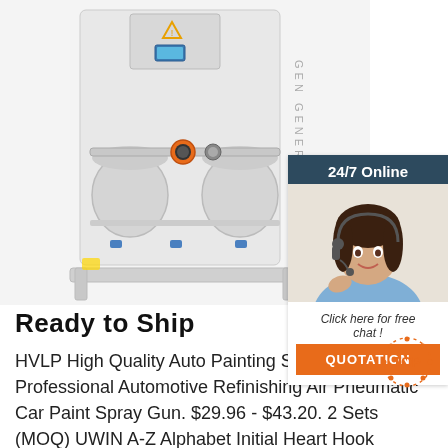[Figure (photo): Industrial nitrogen/oxygen generator machine — white cylindrical unit with orange pressure gauge, piping, valves, and two large filter canisters on the front, mounted on a white base frame. Partial text 'GEN GENERATO' visible on the right side of the unit.]
[Figure (photo): Chat widget overlay on the right side: dark blue header with '24/7 Online', photo of smiling female customer service agent with headset, italic text 'Click here for free chat !', and orange button with 'QUOTATION']
Ready to Ship
HVLP High Quality Auto Painting Sprayer Professional Automotive Refinishing Air Pneumatic Car Paint Spray Gun. $29.96 - $43.20. 2 Sets (MOQ) UWIN A-Z Alphabet Initial Heart Hook Cursive Letter Pendant CZ Necklace Women Letters